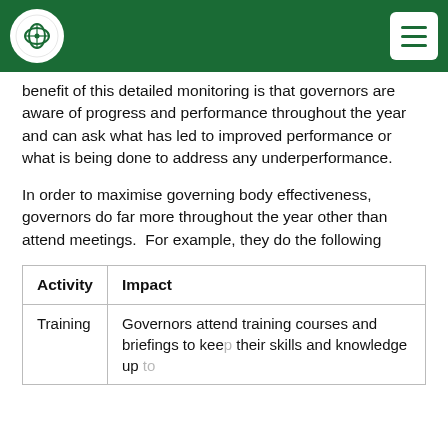[School logo and navigation menu]
benefit of this detailed monitoring is that governors are aware of progress and performance throughout the year and can ask what has led to improved performance or what is being done to address any underperformance.
In order to maximise governing body effectiveness, governors do far more throughout the year other than attend meetings.  For example, they do the following
| Activity | Impact |
| --- | --- |
| Training | Governors attend training courses and briefings to keep their skills and knowledge up to date |